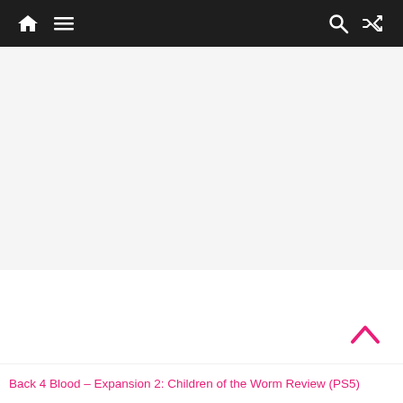Navigation bar with home icon, menu icon, search icon, shuffle icon
[Figure (other): Advertisement or blank content area with light gray background]
Back 4 Blood – Expansion 2: Children of the Worm Review (PS5)